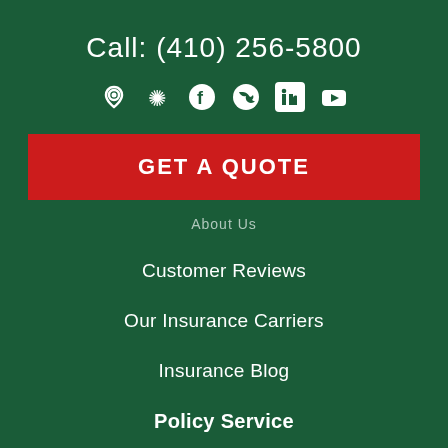Call: (410) 256-5800
[Figure (infographic): Social media icons row: location pin, Yelp star, Facebook, Twitter, LinkedIn, YouTube]
GET A QUOTE
About Us
Customer Reviews
Our Insurance Carriers
Insurance Blog
Policy Service